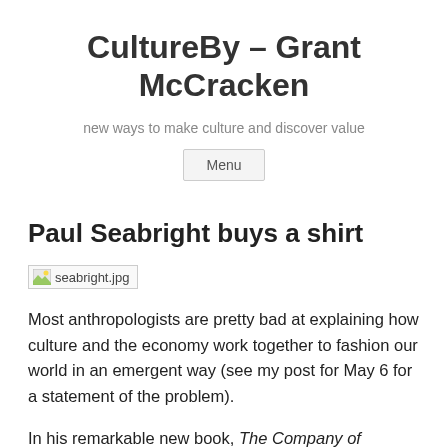CultureBy – Grant McCracken
new ways to make culture and discover value
Menu
Paul Seabright buys a shirt
[Figure (photo): Broken image placeholder: seabright.jpg]
Most anthropologists are pretty bad at explaining how culture and the economy work together to fashion our world in an emergent way (see my post for May 6 for a statement of the problem).
In his remarkable new book, The Company of Strangers, Paul Seabright, an economist, goes squarely at the issue.